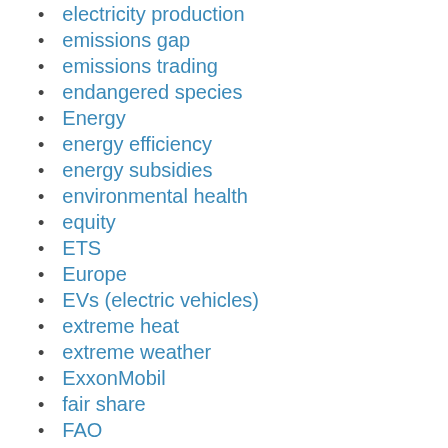electricity production
emissions gap
emissions trading
endangered species
Energy
energy efficiency
energy subsidies
environmental health
equity
ETS
Europe
EVs (electric vehicles)
extreme heat
extreme weather
ExxonMobil
fair share
FAO
fashion
Finance